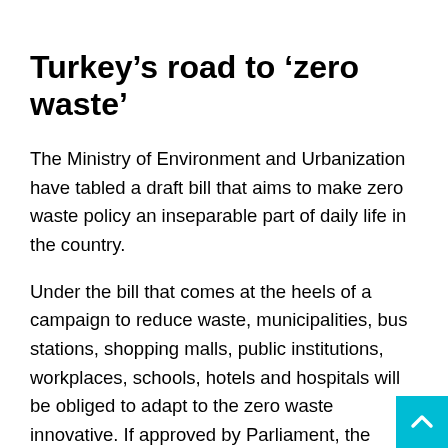Turkey’s road to ‘zero waste’
The Ministry of Environment and Urbanization have tabled a draft bill that aims to make zero waste policy an inseparable part of daily life in the country.
Under the bill that comes at the heels of a campaign to reduce waste, municipalities, bus stations, shopping malls, public institutions, workplaces, schools, hotels and hospitals will be obliged to adapt to the zero waste innovative. If approved by Parliament, the regulations will come into force next year. Municipalities will also be tasked with supervising the zero waste work.
Under the draft bill, every business or public institution will be required to receive a zero waste certificate that will evaluate